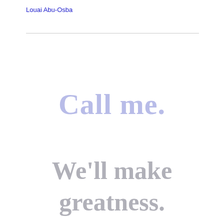Louai Abu-Osba
Call me.
We'll make greatness.